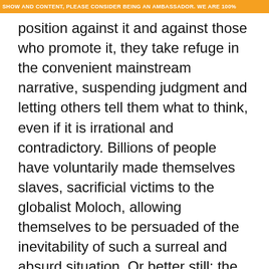SHOW AND CONTENT, PLEASE CONSIDER BEING AN AMBASSADOR. WE ARE 100%
position against it and against those who promote it, they take refuge in the convenient mainstream narrative, suspending judgment and letting others tell them what to think, even if it is irrational and contradictory. Billions of people have voluntarily made themselves slaves, sacrificial victims to the globalist Moloch, allowing themselves to be persuaded of the inevitability of such a surreal and absurd situation. Or better still: the absurdity of what we see and what is